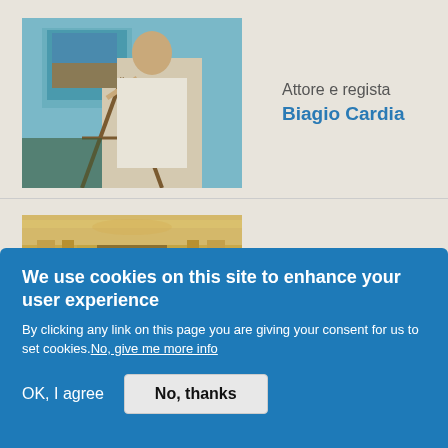[Figure (photo): Person painting at an easel, close-up view of artist working on a painting]
Attore e regista
Biagio Cardia
[Figure (photo): Interior of an ornate room with golden decorations, columns and frescoed ceiling]
We use cookies on this site to enhance your user experience
By clicking any link on this page you are giving your consent for us to set cookies. No, give me more info
OK, I agree
No, thanks